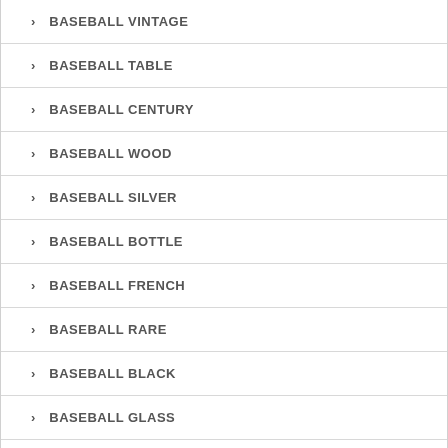BASEBALL VINTAGE
BASEBALL TABLE
BASEBALL CENTURY
BASEBALL WOOD
BASEBALL SILVER
BASEBALL BOTTLE
BASEBALL FRENCH
BASEBALL RARE
BASEBALL BLACK
BASEBALL GLASS